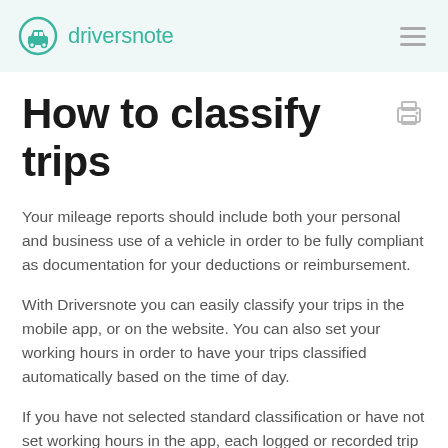driversnote
How to classify trips
Your mileage reports should include both your personal and business use of a vehicle in order to be fully compliant as documentation for your deductions or reimbursement.
With Driversnote you can easily classify your trips in the mobile app, or on the website. You can also set your working hours in order to have your trips classified automatically based on the time of day.
If you have not selected standard classification or have not set working hours in the app, each logged or recorded trip will be classified as the last